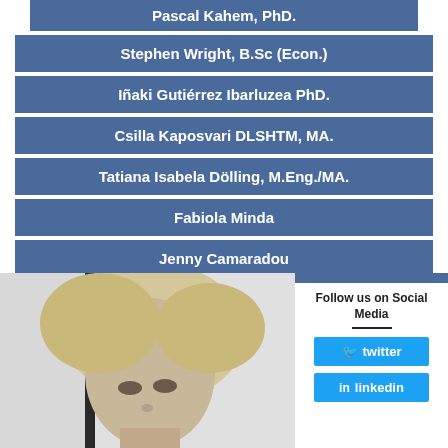Pascal Kahem, PhD.
Stephen Wright, B.Sc (Econ.)
Iñaki Gutiérrez Ibarluzea PhD.
Csilla Kaposvari DLSHTM, MA.
Tatiana Isabela Dölling, M.Eng./MA.
Fabiola Minda
Jenny Camaradou
[Figure (photo): Black and white photo of a blonde woman's face, partially visible, looking to the right, with a window and trees in the background.]
Follow us on Social Media
twitter
linkedin